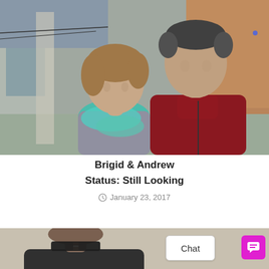[Figure (photo): A smiling couple posing outdoors in front of a house. A woman with shoulder-length brown hair wearing a teal scarf is on the left, and a tall man in a red zip-up pullover is on the right.]
Brigid & Andrew
Status: Still Looking
January 23, 2017
[Figure (photo): A man wearing glasses, partially visible, seated in what appears to be a kitchen.]